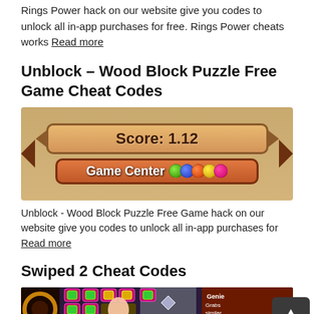Rings Power hack on our website give you codes to unlock all in-app purchases for free. Rings Power cheats works Read more
Unblock – Wood Block Puzzle Free Game Cheat Codes
[Figure (screenshot): Screenshot of Unblock Wood Block Puzzle Free Game showing Score: 1.12 banner and Game Center button with colorful balls]
Unblock - Wood Block Puzzle Free Game hack on our website give you codes to unlock all in-app purchases for Read more
Swiped 2 Cheat Codes
[Figure (screenshot): Screenshot of Swiped 2 game showing gem grid with green, gold, and diamond gems on a dark background, with a Genie power-up card on the right]